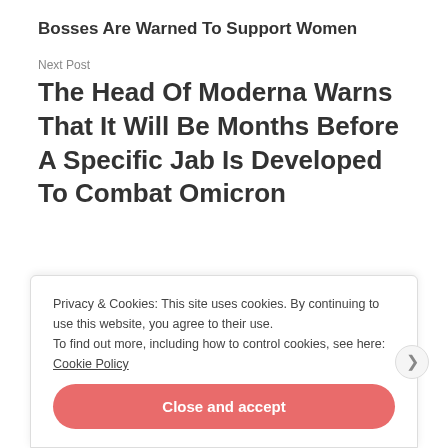Bosses Are Warned To Support Women
Next Post
The Head Of Moderna Warns That It Will Be Months Before A Specific Jab Is Developed To Combat Omicron
Privacy & Cookies: This site uses cookies. By continuing to use this website, you agree to their use.
To find out more, including how to control cookies, see here: Cookie Policy
Close and accept